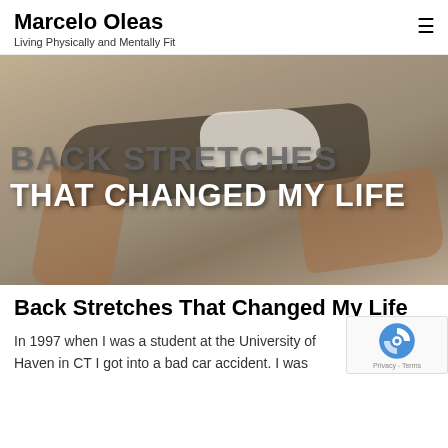Marcelo Oleas
Living Physically and Mentally Fit
[Figure (photo): Person lying on the floor doing a back stretch, with overlaid bold text reading 'BACK STRETCHES THAT CHANGED MY LIFE']
Back Stretches That Changed My Life
In 1997 when I was a student at the University of Haven in CT I got into a bad car accident. I was